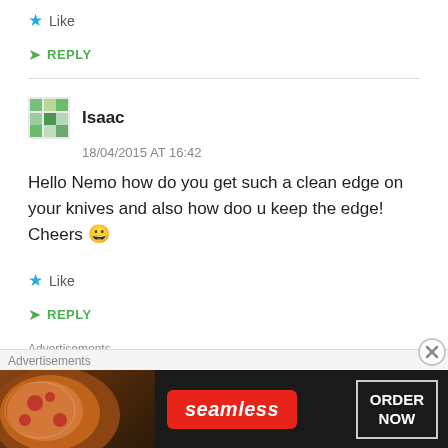Like
REPLY
Isaac
18/04/2015 AT 16:42
Hello Nemo how do you get such a clean edge on your knives and also how doo u keep the edge! Cheers 😀
Like
REPLY
Advertisements
[Figure (screenshot): Seamless food ordering advertisement banner with pizza image, Seamless logo, and ORDER NOW button]